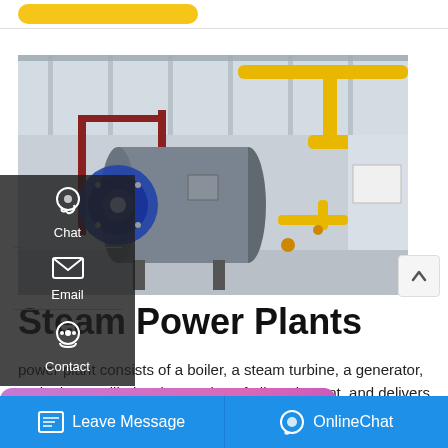[Figure (photo): Industrial boiler in a factory/power plant setting. A large horizontal cylindrical boiler with a blue burner assembly at the front, supported on metal legs. Yellow gas pipes run along the ceiling and right wall. Red structural metalwork and platforms visible in background. Concrete floor and walls.]
Steam Power Plants
power plant consists of a boiler, a steam turbine, a generator, and other auxiliaries. integration of all equipment, and delivers highly efficient and